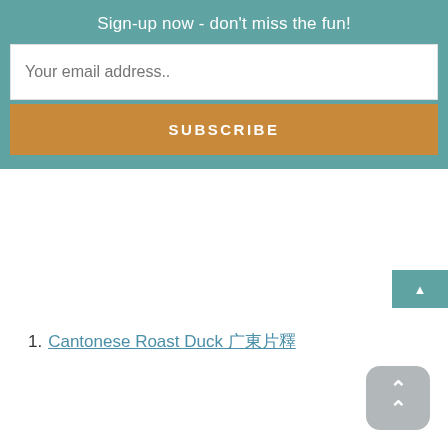Sign-up now - don't miss the fun!
Your email address..
SUBSCRIBE
Cantonese Roast Duck 廣東燒鴨